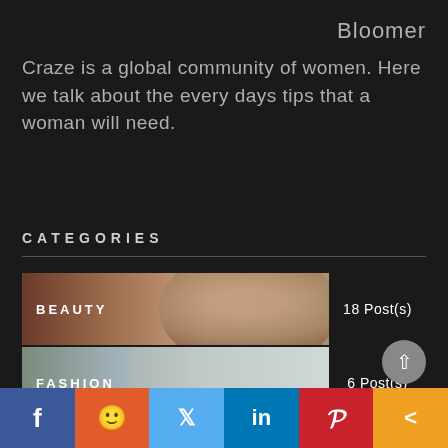Bloomer
Craze is a global community of women. Here we talk about the every days tips that a woman will need.
CATEGORIES
BEAUTY — 18 Post(s)
FASHION — 6 Post(s)
HEALTH & WELLNESS — 17 Post(s)